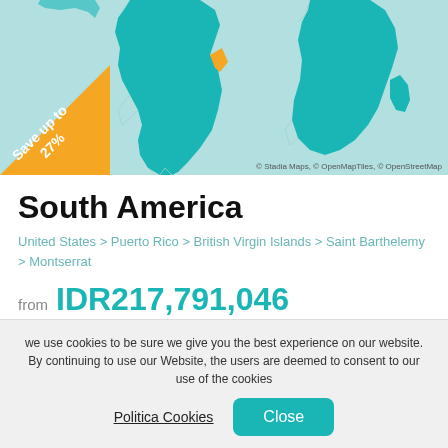[Figure (map): World map showing South America and Africa highlighted in teal/green color, with a small orange area on the east coast of South America. An orange triangular badge in the bottom-left corner reads 'Save up to 27%'. Map credit: © Stadia Maps, © OpenMapTiles, © OpenStreetMap.]
South America
United States > Puerto Rico > British Virgin Islands > Saint Barthelemy > Montserrat
from IDR217,791,046
| Tour Operator | Ship |
| --- | --- |
| Viking | Viking Octantis |
we use cookies to be sure we give you the best experience on our website. By continuing to use our Website, the users are deemed to consent to our use of the cookies
Politica Cookies   Close